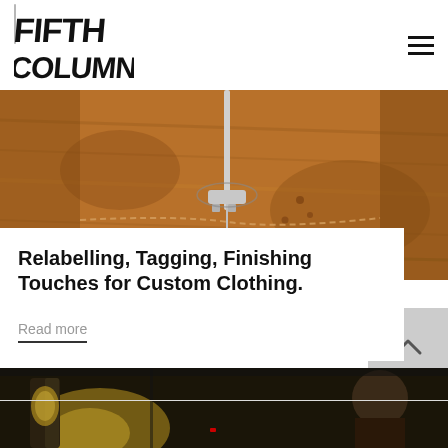[Figure (logo): Fifth Column logo in bold graffiti-style black text]
[Figure (photo): Close-up photo of a sewing machine needle on a wooden/leather surface with stitching pattern]
Relabelling, Tagging, Finishing Touches for Custom Clothing.
Read more
[Figure (photo): Partial photo at bottom showing a person working, dark background with warm light]